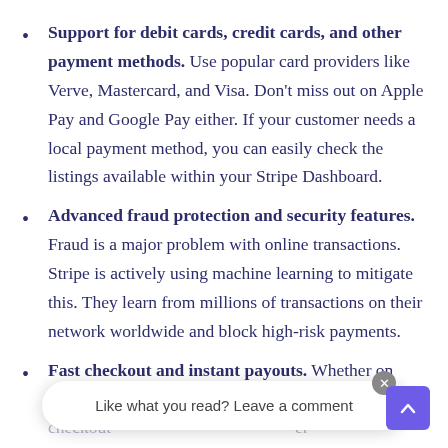Support for debit cards, credit cards, and other payment methods. Use popular card providers like Verve, Mastercard, and Visa. Don't miss out on Apple Pay and Google Pay either. If your customer needs a local payment method, you can easily check the listings available within your Stripe Dashboard.
Advanced fraud protection and security features. Fraud is a major problem with online transactions. Stripe is actively using machine learning to mitigate this. They learn from millions of transactions on their network worldwide and block high-risk payments.
Fast checkout and instant payouts. Whether on mobile or desktop, your customers can enjoy faster checkout ... the
Like what you read? Leave a comment